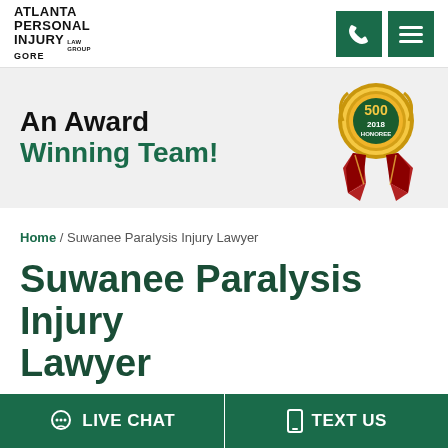Atlanta Personal Injury Law Group Gore
[Figure (illustration): 2018 Honoree award ribbon badge with gold medal top showing '500' and '2018 HONOREE', and red ribbon below]
An Award Winning Team!
Home / Suwanee Paralysis Injury Lawyer
Suwanee Paralysis Injury Lawyer
LIVE CHAT   TEXT US